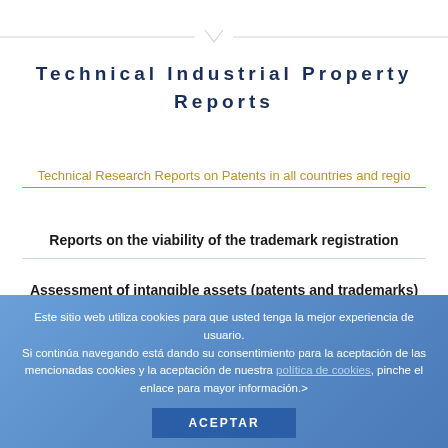Technical Industrial Property Reports
Technical Research Reports on Patents in all countries and regio
Reports on the viability of the trademark registration
Assessment of intangible assets (patents and trademarks)
Patent Infringement Report
Este sitio web utiliza cookies para que usted tenga la mejor experiencia de usuario. Si continúa navegando está dando su consentimiento para la aceptación de las mencionadas cookies y la aceptación de nuestra política de cookies, pinche el enlace para mayor información.>
ACEPTAR